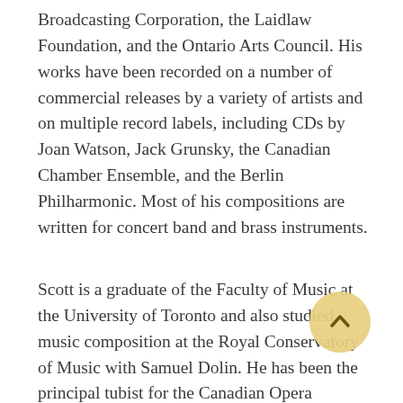Broadcasting Corporation, the Laidlaw Foundation, and the Ontario Arts Council. His works have been recorded on a number of commercial releases by a variety of artists and on multiple record labels, including CDs by Joan Watson, Jack Grunsky, the Canadian Chamber Ensemble, and the Berlin Philharmonic. Most of his compositions are written for concert band and brass instruments.
Scott is a graduate of the Faculty of Music at the University of Toronto and also studied music composition at the Royal Conservatory of Music with Samuel Dolin. He has been the principal tubist for the Canadian Opera Company Orchestra since 1984 and currently holds the same post with the Esprit Orchestra. In 1997, he